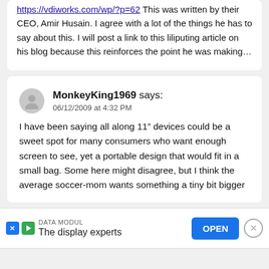https://vdiworks.com/wp/?p=62 This was written by their CEO, Amir Husain. I agree with a lot of the things he has to say about this. I will post a link to this liliputing article on his blog because this reinforces the point he was making…
MonkeyKing1969 says: 06/12/2009 at 4:32 PM
I have been saying all along 11" devices could be a sweet spot for many consumers who want enough screen to see, yet a portable design that would fit in a small bag. Some here might disagree, but I think the average soccer-mom wants something a tiny bit bigger